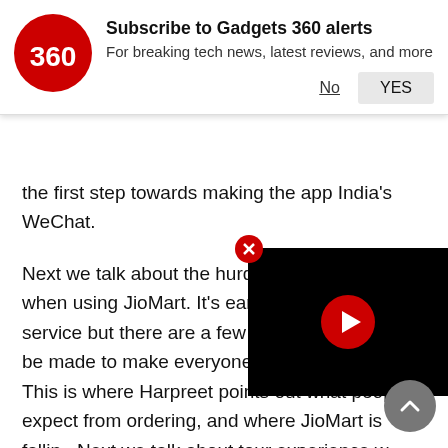Subscribe to Gadgets 360 alerts
For breaking tech news, latest reviews, and more
the first step towards making the app India's WeChat.
Next we talk about the hurdles that we faced when using JioMart. It's early days for the service but there are a few changes that could be made to make everyone's life a lot easier. This is where Harpreet points out what people expect from ordering, and where JioMart is falling. Next we talk about tour experience with JioMart and how the process worked. share our thoughts on the Indian e-commerce space right now, before wrapping this episode by talking about the one thing that will make Pranay rejoin WhatsApp
[Figure (screenshot): Black video player overlay with red play button in center and red X close button in upper left corner]